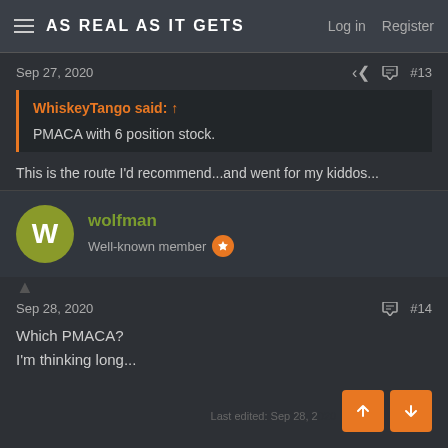AS REAL AS IT GETS   Log in  Register
Sep 27, 2020  #13
WhiskeyTango said: ↑
PMACA with 6 position stock.
This is the route I'd recommend...and went for my kiddos...
wolfman
Well-known member
Sep 28, 2020  #14
Which PMACA?
I'm thinking long...
Last edited: Sep 28, 2020